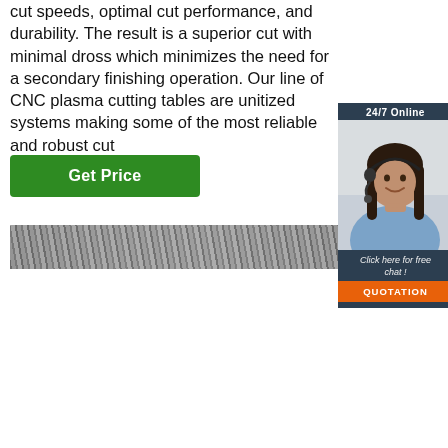cut speeds, optimal cut performance, and durability. The result is a superior cut with minimal dross which minimizes the need for a secondary finishing operation. Our line of CNC plasma cutting tables are unitized systems making some of the most reliable and robust cut
Get Price
[Figure (photo): Industrial ceiling/roof structure with metal ribbing, viewed from below — CNC plasma cutting table environment]
[Figure (photo): 24/7 Online chat widget overlay showing a woman with a headset, with 'Click here for free chat!' text and a QUOTATION button]